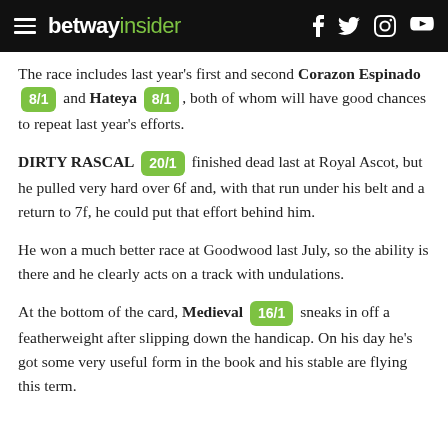betway insider
The race includes last year's first and second Corazon Espinado 8/1 and Hateya 8/1, both of whom will have good chances to repeat last year's efforts.
DIRTY RASCAL 20/1 finished dead last at Royal Ascot, but he pulled very hard over 6f and, with that run under his belt and a return to 7f, he could put that effort behind him.
He won a much better race at Goodwood last July, so the ability is there and he clearly acts on a track with undulations.
At the bottom of the card, Medieval 16/1 sneaks in off a featherweight after slipping down the handicap. On his day he's got some very useful form in the book and his stable are flying this term.